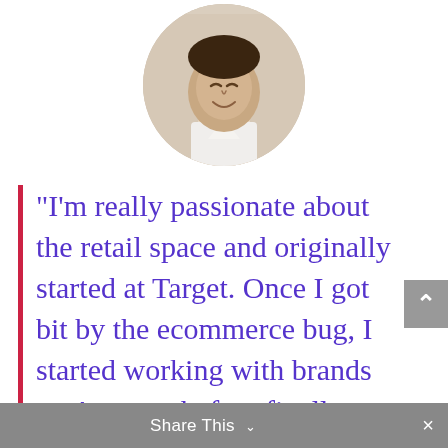[Figure (photo): Circular cropped profile photo of a man smiling, wearing a white shirt, shown from roughly the shoulders up, photo cut off at top of page]
“I’m really passionate about the retail space and originally started at Target. Once I got bit by the ecommerce bug, I started working with brands on Amazon before finally being hired to help engineer Honest’s Amazon strategy.”
Share This ∨  ×